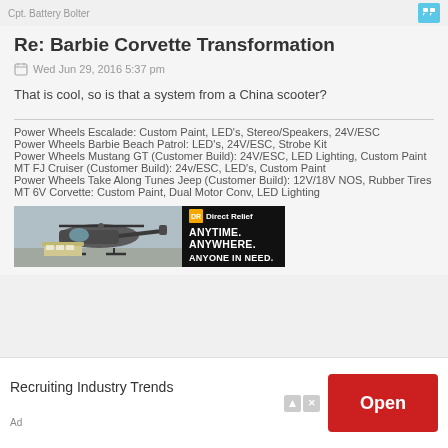Cpt. Battery Bolter
Re: Barbie Corvette Transformation
Wed Jun 29, 2016 5:37 pm
That is cool, so is that a system from a China scooter?
Power Wheels Escalade: Custom Paint, LED's, Stereo/Speakers, 24V/ESC
Power Wheels Barbie Beach Patrol: LED's, 24V/ESC, Strobe Kit
Power Wheels Mustang GT (Customer Build): 24V/ESC, LED Lighting, Custom Paint
MT FJ Cruiser (Customer Build): 24v/ESC, LED's, Custom Paint
Power Wheels Take Along Tunes Jeep (Customer Build): 12V/18V NOS, Rubber Tires
MT 6V Corvette: Custom Paint, Dual Motor Conv, LED Lighting
[Figure (photo): Direct Relief advertisement banner showing a helicopter and cargo with text ANYTIME. ANYWHERE. ANYONE IN NEED.]
Recruiting Industry Trends
Open
Ad